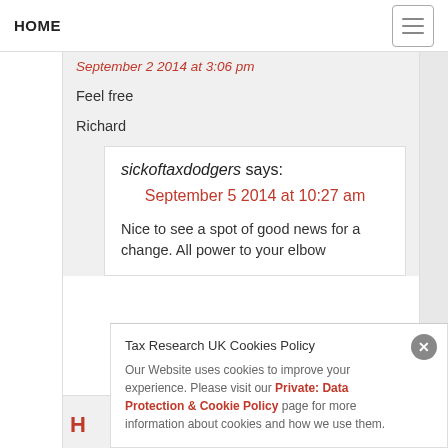HOME
September 2 2014 at 3:06 pm
Feel free
Richard
sickoftaxdodgers says:
September 5 2014 at 10:27 am
Nice to see a spot of good news for a change. All power to your elbow
Tax Research UK Cookies Policy
Our Website uses cookies to improve your experience. Please visit our Private: Data Protection & Cookie Policy page for more information about cookies and how we use them.